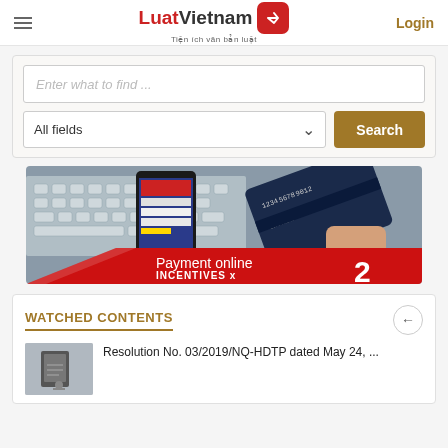LuatVietnam — Tiện ích văn bản luật | Login
Enter what to find ...
All fields
Search
[Figure (infographic): Payment online promotional banner showing a smartphone and credit card on a keyboard background. Red overlay reads: Payment online INCENTIVES x2]
WATCHED CONTENTS
Resolution No. 03/2019/NQ-HDTP dated May 24, ...